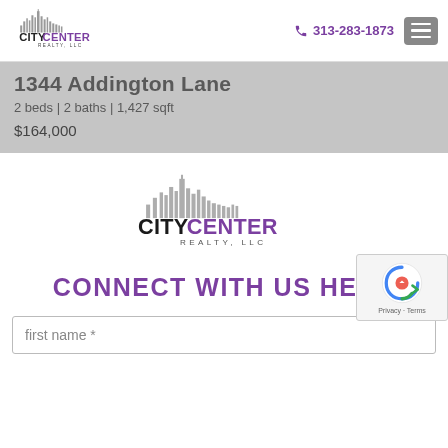[Figure (logo): City Center Realty LLC logo in header - skyline graphic above CITYCENTER text with REALTY, LLC below]
313-283-1873
1344 Addington Lane
2 beds | 2 baths | 1,427 sqft
$164,000
[Figure (logo): City Center Realty LLC logo centered - larger version with skyline graphic above CITYCENTER text with REALTY, LLC below]
CONNECT WITH US HERE
first name *